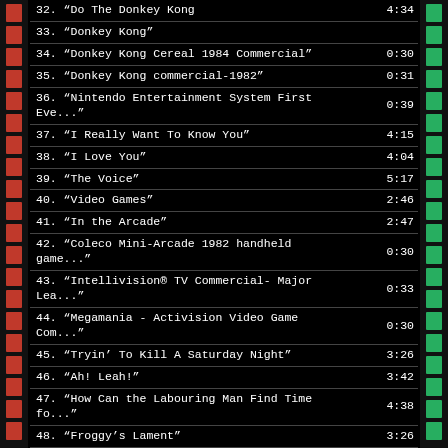| Title | Duration |
| --- | --- |
| 32. "Do The Donkey Kong | 4:34 |
| 33. "Donkey Kong" |  |
| 34. "Donkey Kong Cereal 1984 Commercial" | 0:30 |
| 35. "Donkey Kong commercial-1982" | 0:31 |
| 36. "Nintendo Entertainment System First Eve..." | 0:39 |
| 37. "I Really Want To Know You" | 4:15 |
| 38. "I Love You" | 4:04 |
| 39. "The Voice" | 5:17 |
| 40. "Video Games" | 2:46 |
| 41. "In the Arcade" | 2:47 |
| 42. "Coleco Mini-Arcade 1982 handheld game..." | 0:30 |
| 43. "Intellivision® TV Commercial- Major Lea..." | 0:33 |
| 44. "Megamania - Activision Video Game Com..." | 0:30 |
| 45. "Tryin' To Kill A Saturday Night" | 3:26 |
| 46. "Ah! Leah!" | 3:42 |
| 47. "How Can the Labouring Man Find Time fo..." | 4:38 |
| 48. "Froggy's Lament" | 3:26 |
| 49. "Dragon's Legend" | 6:22 |
| 50. "Ode To A Centipede" | 5:37 |
| 51. "Saved By Zero" | 3:37 |
| 52. "The McRib teams up with Atari - 1982 Mc..." | 0:30 |